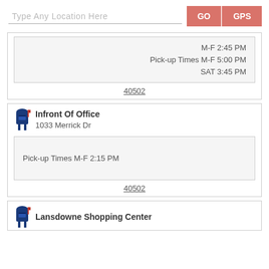Type Any Location Here
GO
GPS
M-F 2:45 PM
Pick-up Times M-F 5:00 PM
SAT 3:45 PM
40502
Infront Of Office
1033 Merrick Dr
Pick-up Times M-F 2:15 PM
40502
Lansdowne Shopping Center